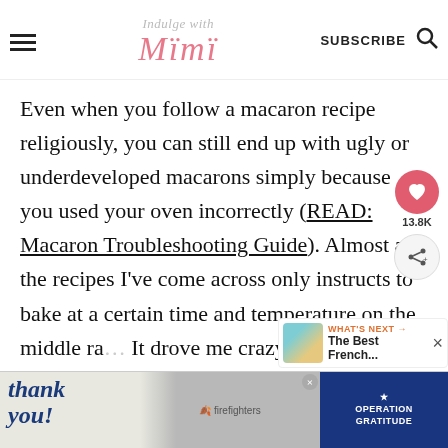Indulge with Mimi
Even when you follow a macaron recipe religiously, you can still end up with ugly or underdeveloped macarons simply because you used your oven incorrectly (READ: Macaron Troubleshooting Guide). Almost all the recipes I've come across only instructs to bake at a certain time and temperature on the middle ra... It drove me crazy when I ended up with overly brown or under cooked macarons. It led me to experiment with my oven in order to g...
[Figure (screenshot): Advertisement banner with 'Thank you!' text and Operation Gratitude imagery with firefighters]
[Figure (screenshot): What's Next panel showing a macaron image with text 'The Best French...']